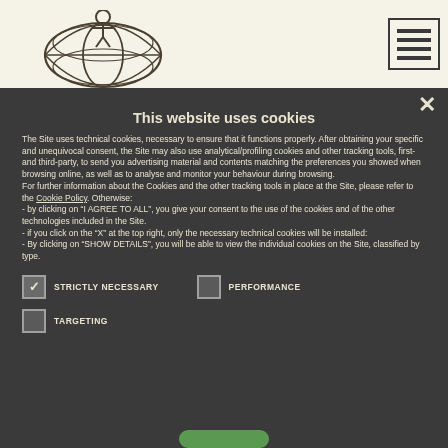[Figure (logo): La Marzocco globe/figure logo and brand name text 'la marzocco']
[Figure (screenshot): Hamburger menu icon with horizontal lines inside a square border]
This website uses cookies
The Site uses technical cookies, necessary to ensure that it functions properly. After obtaining your specific and unequivocal consent, the Site may also use analytical/profiling cookies and other tracking tools, first- and third-party, to send you advertising material and contents matching the preferences you showed when browsing online, as well as to analyse and monitor your behaviour during browsing.
For further information about the Cookies and the other tracking tools in place at the Site, please refer to the Cookie Policy. Otherwise:
- by clicking on “I AGREE TO ALL”, you give your consent to the use of the cookies and of the other technologies included in the Site.
- if you click on the “X” at the top right, only the necessary technical cookies will be installed:
- By clicking on "SHOW DETAILS", you will be able to view the individual cookies on the Site, classified by type.
STRICTLY NECESSARY (checked)
PERFORMANCE (unchecked)
TARGETING (unchecked)